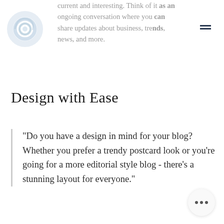[Figure (logo): Circular swirl logo in light blue/grey tones, positioned top left]
current and interesting. Think of it as an ongoing conversation where you can share updates about business, trends, news, and more.
Design with Ease
“Do you have a design in mind for your blog? Whether you prefer a trendy postcard look or you’re going for a more editorial style blog - there’s a stunning layout for everyone.”